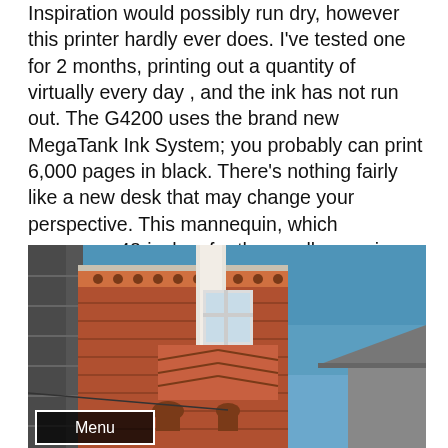Inspiration would possibly run dry, however this printer hardly ever does. I've tested one for 2 months, printing out a quantity of virtually every day , and the ink has not run out. The G4200 uses the brand new MegaTank Ink System; you probably can print 6,000 pages in black. There's nothing fairly like a new desk that may change your perspective. This mannequin, which measures 48-inches for the smaller version, makes use of a digital switch for elevating and lowering for sit-stand positions, and has memory controls for fast changes.
[Figure (photo): Upward-angle photo of a red brick Victorian-era building with ornate white trim details, chevron patterned brickwork, and arched windows against a bright blue sky. Another building's roof is visible at the far right.]